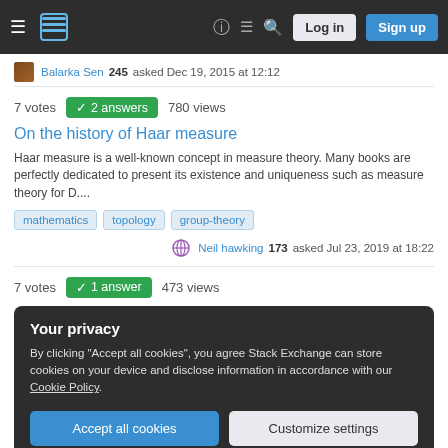Stack Exchange navigation bar with Log in and Sign up buttons
Balarka Sen 245 asked Dec 19, 2015 at 12:12
7 votes  2 answers  780 views
On the history of Haar measure
Haar measure is a well-known concept in measure theory. Many books are perfectly dedicated to present its existence and uniqueness such as measure theory for D....
mathematics
topology
group-theory
Neil hawking 173 asked Jul 23, 2019 at 18:22
7 votes  1 answer  473 views
Your privacy
By clicking "Accept all cookies", you agree Stack Exchange can store cookies on your device and disclose information in accordance with our Cookie Policy.
Accept all cookies
Customize settings